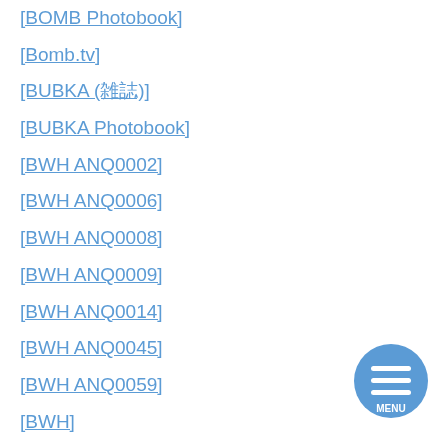[BOMB Photobook]
[Bomb.tv]
[BUBKA (雑誌)]
[BUBKA Photobook]
[BWH ANQ0002]
[BWH ANQ0006]
[BWH ANQ0008]
[BWH ANQ0009]
[BWH ANQ0014]
[BWH ANQ0045]
[BWH ANQ0059]
[BWH]